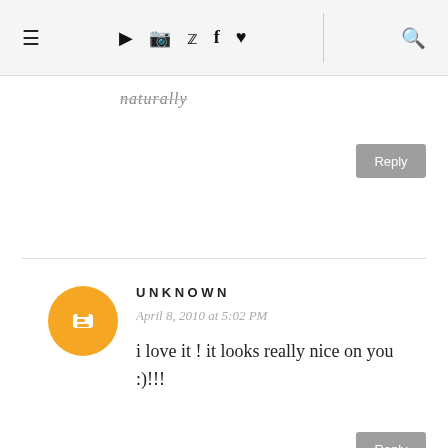≡ ▶ 📷 🐦 f ♥ 🔍
naturally
Reply
UNKNOWN
April 8, 2010 at 5:02 PM
i love it ! it looks really nice on you
:)!!!
Reply
SHANNON
April 8, 2010 at 7:52 PM